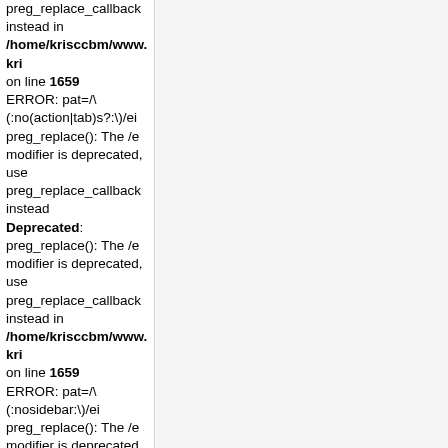preg_replace_callback instead in /home/krisccbm/www.kri on line 1659
ERROR: pat=/\(:no(action|tab)s?:\)/ei preg_replace(): The /e modifier is deprecated, use preg_replace_callback instead
Deprecated: preg_replace(): The /e modifier is deprecated, use preg_replace_callback instead in /home/krisccbm/www.kri on line 1659
ERROR: pat=/\(:nosidebar:\)/ei preg_replace(): The /e modifier is deprecated, use preg_replace_callback instead
Deprecated: preg_replace(): The /e modifier is deprecated, use preg_replace_callback instead in /home/krisccbm/www.kri